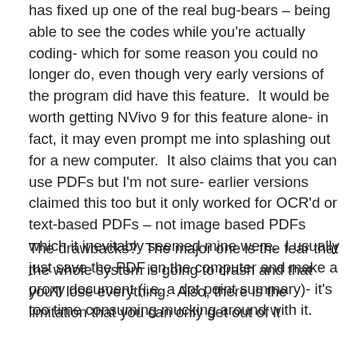has fixed up one of the real bug-bears – being able to see the codes while you're actually coding- which for some reason you could no longer do, even though very early versions of the program did have this feature.  It would be worth getting NVivo 9 for this feature alone- in fact, it may even prompt me into splashing out for a new computer.  It also claims that you can use PDFs but I'm not sure- earlier versions claimed this too but it only worked for OCR'd or text-based PDFs – not image based PDFs which it inevitably seemed mine were.  I usually just save the PDF on the computer and make a proxy document (i.e. a dot point summary)- it's too time consuming mucking around with it.
The drawbacks?  The major one is the fear that the whole system is going to crash and that you'll lose everything.  Also, there is the limitation that you can only get out of it